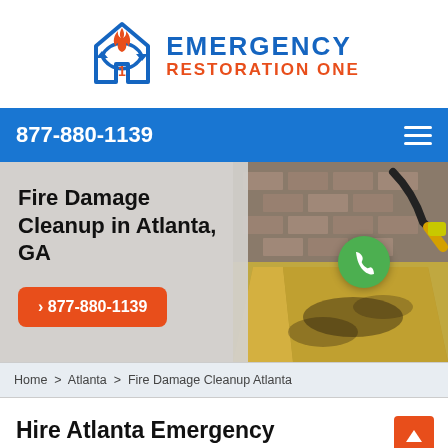[Figure (logo): Emergency Restoration One logo with house/fire icon in blue and orange]
877-880-1139
[Figure (photo): Hero banner with fire damage cleanup images on right side showing burned walls and hose, with phone call circle icon]
Fire Damage Cleanup in Atlanta, GA
> 877-880-1139
Home > Atlanta > Fire Damage Cleanup Atlanta
Hire Atlanta Emergency Restoration One For Fire Damage Cleanup in Atlanta, GA. We Are The Best Fire